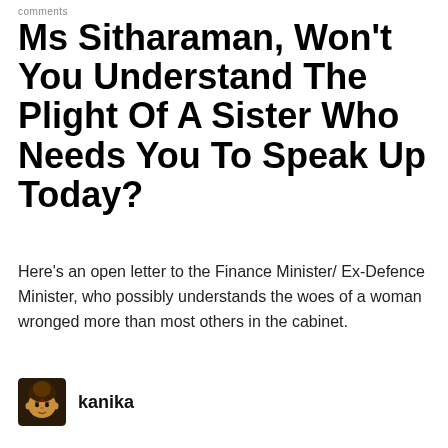comments
Ms Sitharaman, Won't You Understand The Plight Of A Sister Who Needs You To Speak Up Today?
Here's an open letter to the Finance Minister/ Ex-Defence Minister, who possibly understands the woes of a woman wronged more than most others in the cabinet.
kanika